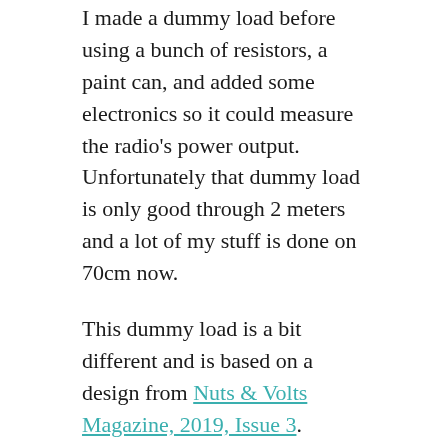I made a dummy load before using a bunch of resistors, a paint can, and added some electronics so it could measure the radio's power output. Unfortunately that dummy load is only good through 2 meters and a lot of my stuff is done on 70cm now.
This dummy load is a bit different and is based on a design from Nuts & Volts Magazine, 2019, Issue 3.
[Figure (photo): Photo of a dummy load device on a workbench, showing a dark metal enclosure with fan/heatsink assembly, with wooden shelving and blue surface visible in the background, and what appears to be an antenna connector or stand on the right side.]